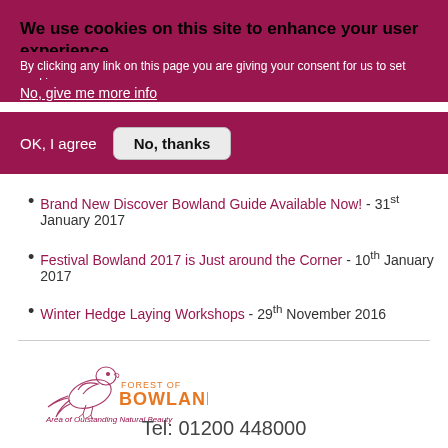We use cookies on this site to enhance your user experience
By clicking any link on this page you are giving your consent for us to set cookies.
No, give me more info
OK, I agree
No, thanks
Brand New Discover Bowland Guide Available Now! - 31st January 2017
Festival Bowland 2017 is Just around the Corner - 10th January 2017
Winter Hedge Laying Workshops - 29th November 2016
[Figure (logo): Forest of Bowland Area of Outstanding Natural Beauty logo with bird illustration]
Tel: 01200 448000